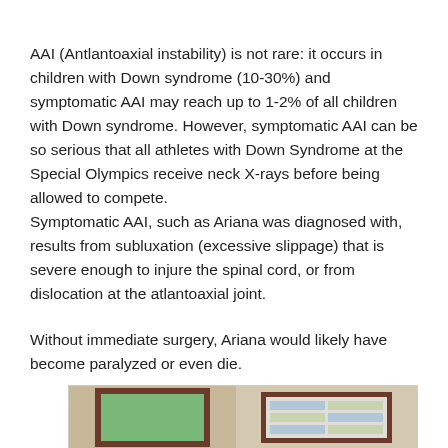AAI (Antlantoaxial instability) is not rare: it occurs in children with Down syndrome (10-30%) and symptomatic AAI may reach up to 1-2% of all children with Down syndrome. However, symptomatic AAI can be so serious that all athletes with Down Syndrome at the Special Olympics receive neck X-rays before being allowed to compete.
Symptomatic AAI, such as Ariana was diagnosed with, results from subluxation (excessive slippage) that is severe enough to injure the spinal cord, or from dislocation at the atlantoaxial joint.
Without immediate surgery, Ariana would likely have become paralyzed or even die.
[Figure (photo): A photograph showing two framed pictures on a wall. The left frame contains a green image, and the right frame displays a collage of multiple smaller photos.]